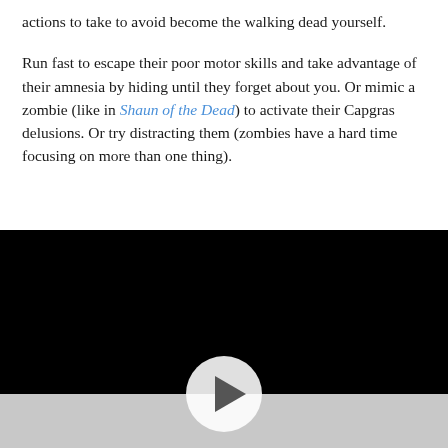actions to take to avoid become the walking dead yourself.

Run fast to escape their poor motor skills and take advantage of their amnesia by hiding until they forget about you. Or mimic a zombie (like in Shaun of the Dead) to activate their Capgras delusions. Or try distracting them (zombies have a hard time focusing on more than one thing).
[Figure (other): Embedded video player with black screen and a play button (white circle with triangle) centered at the bottom, with a grey control bar at the bottom.]